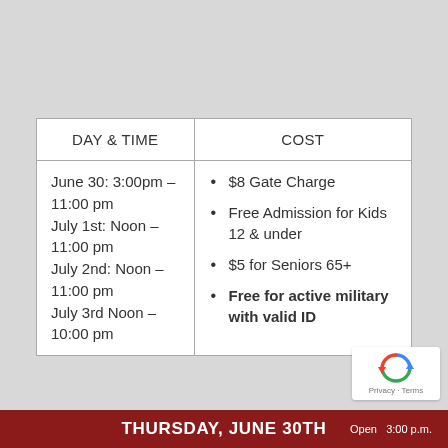| DAY & TIME | COST |
| --- | --- |
| June 30: 3:00pm – 11:00 pm
July 1st: Noon – 11:00 pm
July 2nd: Noon – 11:00 pm
July 3rd Noon – 10:00 pm | • $8 Gate Charge
• Free Admission for Kids 12 & under
• $5 for Seniors 65+
• Free for active military with valid ID |
THURSDAY, JUNE 30TH     Open   3:00 p.m.